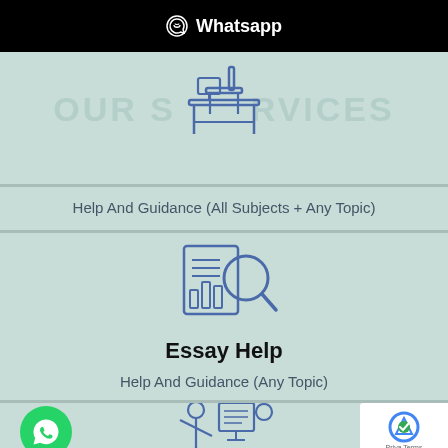Whatsapp
[Figure (illustration): Line art icon of a person sitting at a desk/chair with a table, in blue outline style. Watermark text 'OUR SERVICES' in light teal behind it.]
Help And Guidance (All Subjects + Any Topic)
[Figure (illustration): Line art icon of a document/book with a magnifying glass overlaid and bar chart elements, in blue outline style representing essay/research help.]
Essay Help
Help And Guidance (Any Topic)
[Figure (illustration): Partial view of a line art icon showing a person presenting/teaching with another figure, in blue outline style. Bottom card partially visible.]
[Figure (logo): WhatsApp floating action button - green circle with white WhatsApp phone/chat icon]
[Figure (other): Google reCAPTCHA widget overlay in bottom right corner showing reCAPTCHA logo and 'Privacy Terms' text]